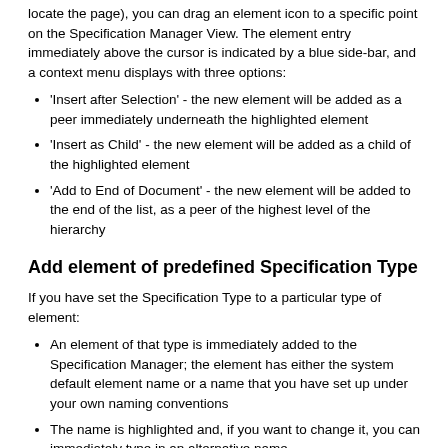locate the page), you can drag an element icon to a specific point on the Specification Manager View. The element entry immediately above the cursor is indicated by a blue side-bar, and a context menu displays with three options:
'Insert after Selection' - the new element will be added as a peer immediately underneath the highlighted element
'Insert as Child' - the new element will be added as a child of the highlighted element
'Add to End of Document' - the new element will be added to the end of the list, as a peer of the highest level of the hierarchy
Add element of predefined Specification Type
If you have set the Specification Type to a particular type of element:
An element of that type is immediately added to the Specification Manager; the element has either the system default element name or a name that you have set up under your own naming conventions
The name is highlighted and, if you want to change it, you can immediately type in an alternative name
If the element is a child of an existing element, the